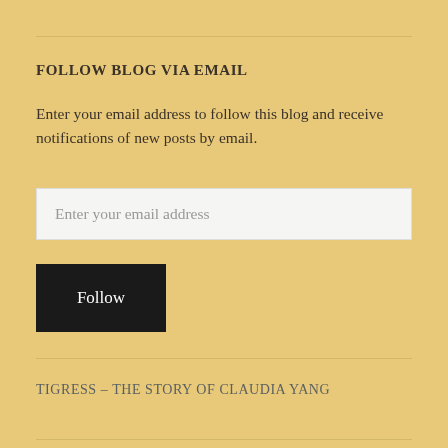FOLLOW BLOG VIA EMAIL
Enter your email address to follow this blog and receive notifications of new posts by email.
Enter your email address
Follow
TIGRESS – THE STORY OF CLAUDIA YANG